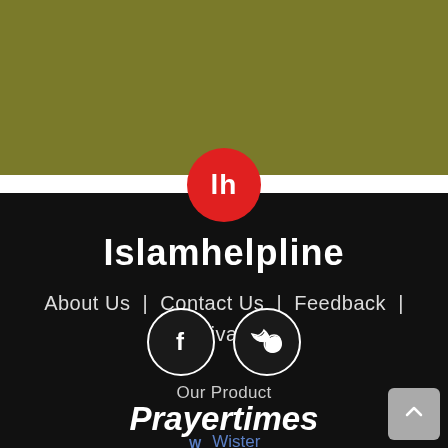[Figure (logo): Olive/dark yellow banner bar at top of page]
[Figure (logo): Red circular logo with white lowercase 'lh' text — Islamhelpline brand icon]
Islamhelpline
About Us | Contact Us | Feedback | Privacy
[Figure (illustration): Two circular social media icons: Facebook (f) and Twitter (bird) with white outlines on dark background]
Our Product
Prayertimes
W Wister